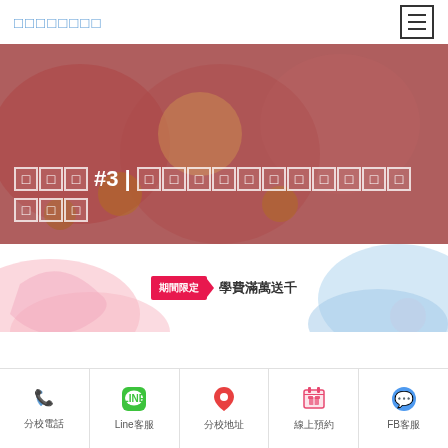□□□□□□□□
[Figure (photo): Hero banner with festive Chinese New Year background featuring a lucky cat figurine surrounded by decorations, with a red/pink overlay. Text overlay shows title with CJK characters and #3]
□□□ #3 | □□□□□□□□□□□□□□□□□
[Figure (illustration): Promotional banner section with pink decorative illustration on left and blue illustration on right, centered badge with period-limited offer text]
期間限定 學費滿萬送千
分校電話 Line客服 分校地址 線上預約 FB客服